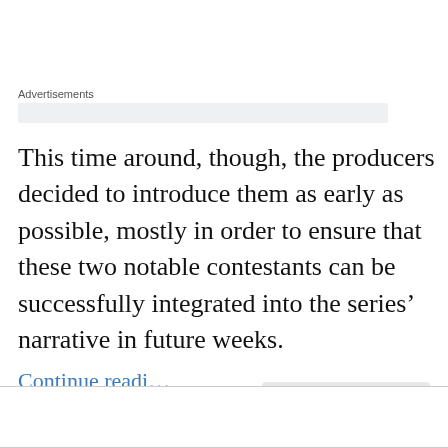Advertisements
This time around, though, the producers decided to introduce them as early as possible, mostly in order to ensure that these two notable contestants can be successfully integrated into the series’ narrative in future weeks.
Privacy & Cookies: This site uses cookies. By continuing to use this website, you agree to their use.
To find out more, including how to control cookies, see here: Cookie Policy
Close and accept